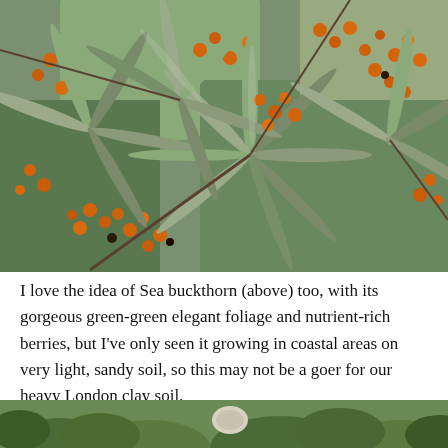[Figure (photo): Close-up photograph of sea buckthorn plant showing narrow green-grey elongated leaves and clusters of small round orange berries densely packed among the stems.]
I love the idea of Sea buckthorn (above) too, with its gorgeous green-green elegant foliage and nutrient-rich berries, but I've only seen it growing in coastal areas on very light, sandy soil, so this may not be a goer for our heavy London clay soil.
[Figure (photo): Partial photograph at bottom of page showing green garden foliage with what appears to be a light-coloured object visible.]